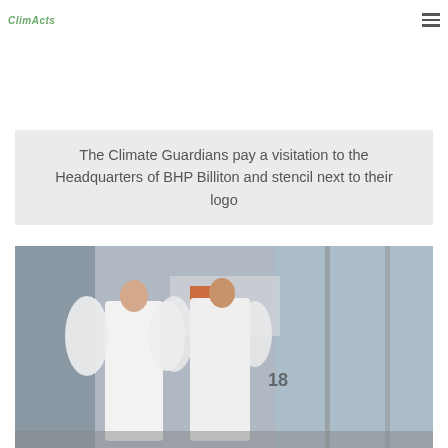ClimActs
The Climate Guardians pay a visitation to the Headquarters of BHP Billiton and stencil next to their logo
[Figure (photo): Two people dressed as angels in white robes and white wings with flower crowns, standing in front of the BHP Billiton headquarters entrance with revolving glass doors.]